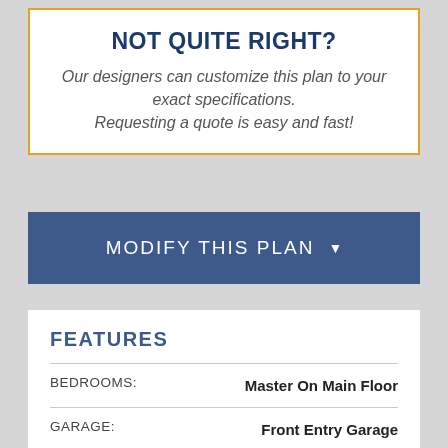NOT QUITE RIGHT?
Our designers can customize this plan to your exact specifications. Requesting a quote is easy and fast!
MODIFY THIS PLAN
FEATURES
|  |  |
| --- | --- |
| BEDROOMS: | Master On Main Floor |
| GARAGE: | Front Entry Garage |
| KITCHEN: | Kitchen Island
Open Floor Plan |